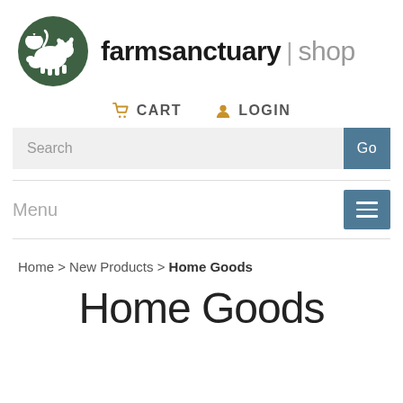[Figure (logo): Farm Sanctuary shop logo: green circle with white animal silhouettes (cow, cat, chicken) on left, text 'farmsanctuary | shop' on right]
CART  LOGIN
Search  Go
Menu
Home > New Products > Home Goods
Home Goods